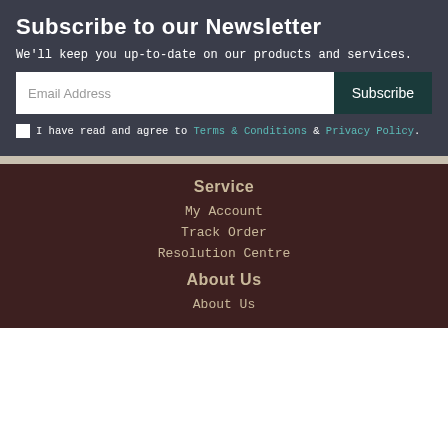Subscribe to our Newsletter
We'll keep you up-to-date on our products and services.
Email Address [input field] Subscribe [button]
I have read and agree to Terms & Conditions & Privacy Policy.
Service
My Account
Track Order
Resolution Centre
About Us
About Us